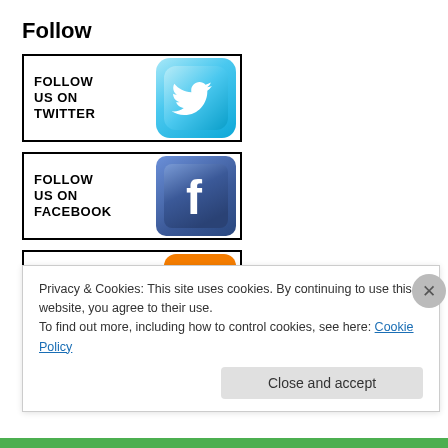Follow
[Figure (logo): Follow us on Twitter button with Twitter bird icon]
[Figure (logo): Follow us on Facebook button with Facebook f icon]
[Figure (logo): Follow us on Blogger button with Blogger B icon (partially visible)]
Privacy & Cookies: This site uses cookies. By continuing to use this website, you agree to their use.
To find out more, including how to control cookies, see here: Cookie Policy
Close and accept